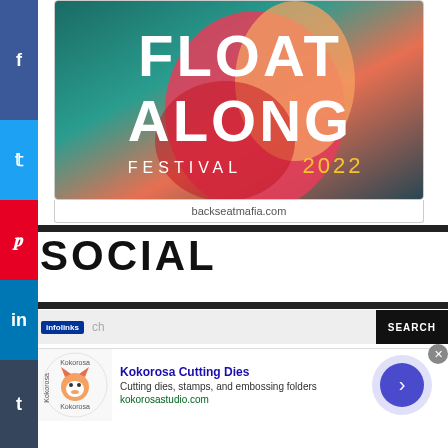[Figure (logo): Float Along Festival 2022 logo on teal/colorful gradient background]
backseatmafia.com
SOCIAL
infolinks  ch  SEARCH
Kokorosa Cutting Dies
Cutting dies, stamps, and embossing folders
kokorosastudio.com